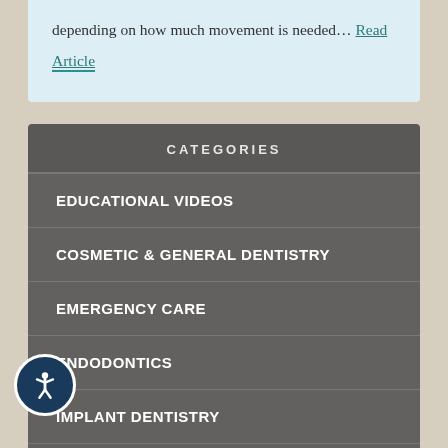depending on how much movement is needed… Read Article
CATEGORIES
EDUCATIONAL VIDEOS
COSMETIC & GENERAL DENTISTRY
EMERGENCY CARE
ENDODONTICS
IMPLANT DENTISTRY
ORAL HEALTH
ORAL HYGIENE